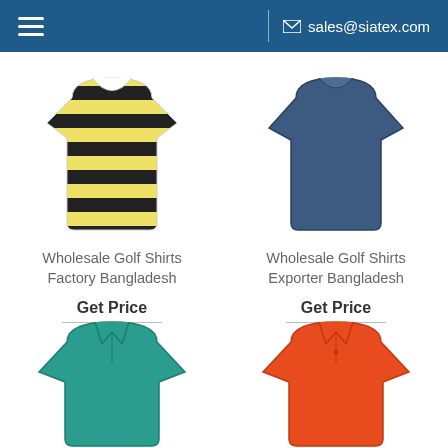sales@siatex.com
[Figure (photo): Yellow and black horizontal striped t-shirt (Wholesale Golf Shirts Factory Bangladesh)]
Wholesale Golf Shirts Factory Bangladesh
Get Price
[Figure (photo): Plain navy/dark blue polo shirt (Wholesale Golf Shirts Exporter Bangladesh)]
Wholesale Golf Shirts Exporter Bangladesh
Get Price
[Figure (photo): Teal/blue polo shirt]
[Figure (photo): Orange/red polo shirt]